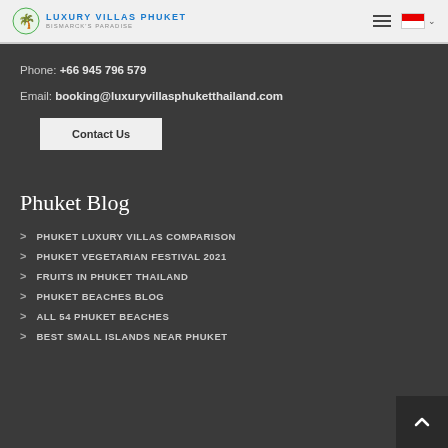Luxury Villas Phuket — Bismarck's Paradise
Phone: +66 945 796 579
Email: booking@luxuryvillasphuketthailand.com
Contact Us
Phuket Blog
PHUKET LUXURY VILLAS COMPARISON
PHUKET VEGETARIAN FESTIVAL 2021
FRUITS IN PHUKET THAILAND
PHUKET BEACHES BLOG
ALL 54 PHUKET BEACHES
BEST SMALL ISLANDS NEAR PHUKET